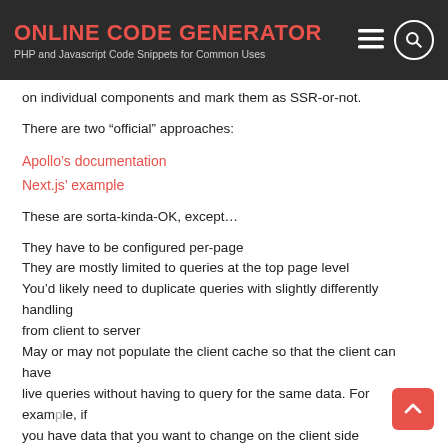ONLINE CODE GENERATOR
PHP and Javascript Code Snippets for Common Uses
on individual components and mark them as SSR-or-not.
There are two “official” approaches:
Apollo’s documentation
Next.js’ example
These are sorta-kinda-OK, except…
They have to be configured per-page
They are mostly limited to queries at the top page level
You’d likely need to duplicate queries with slightly differently handling from client to server
May or may not populate the client cache so that the client can have live queries without having to query for the same data. For example, if you have data that you want to change on the client side (pagination,